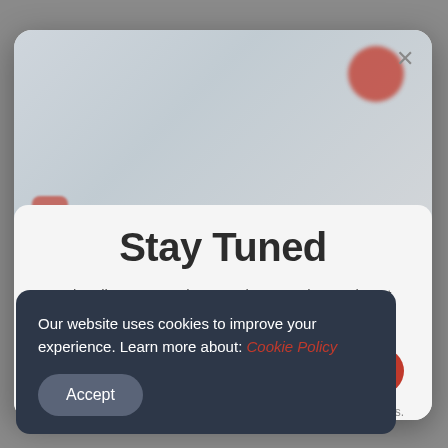[Figure (screenshot): A website modal popup overlay on a blurred background page. The modal shows a 'Stay Tuned' newsletter subscription dialog with an email input and Subscribe button. A cookie consent banner appears at the bottom left.]
Stay Tuned
Subscribe our newsletter and never miss our latest news ...
Subscribe
terms.
Our website uses cookies to improve your experience. Learn more about: Cookie Policy
Accept